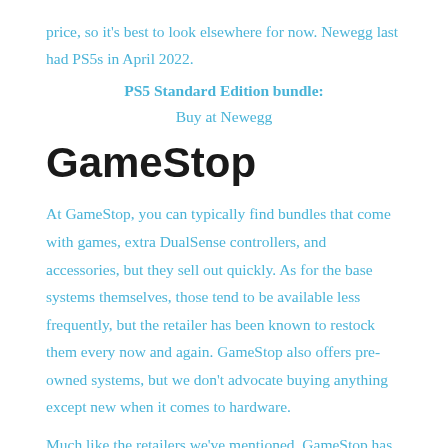price, so it's best to look elsewhere for now. Newegg last had PS5s in April 2022.
PS5 Standard Edition bundle:
Buy at Newegg
GameStop
At GameStop, you can typically find bundles that come with games, extra DualSense controllers, and accessories, but they sell out quickly. As for the base systems themselves, those tend to be available less frequently, but the retailer has been known to restock them every now and again. GameStop also offers pre-owned systems, but we don't advocate buying anything except new when it comes to hardware.
Much like the retailers we've mentioned, GameStop has had PS5 stocking issues but has had success when it comes to th